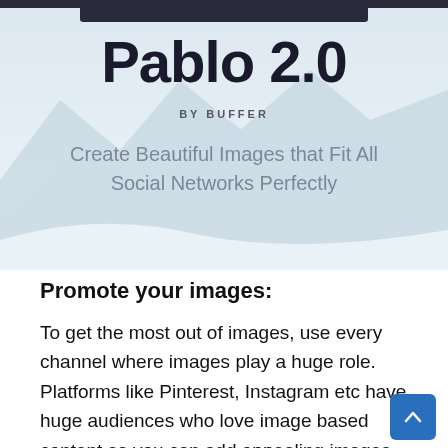[Figure (illustration): Pablo 2.0 by Buffer hero banner with snowy mountain background, title 'Pablo 2.0', byline 'BY BUFFER', and subtitle 'Create Beautiful Images that Fit All Social Networks Perfectly']
Promote your images:
To get the most out of images, use every channel where images play a huge role. Platforms like Pinterest, Instagram etc have huge audiences who love image based content so you can add appealing images to attract more followers from your platform.